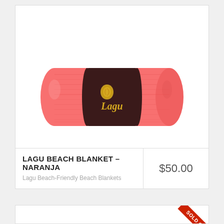[Figure (photo): A rolled-up coral/salmon pink beach blanket with a dark brown/maroon Lagu branded label in the center, featuring a gold shell logo and the text 'Lagu' in gold script.]
LAGU BEACH BLANKET – NARANJA
Lagu Beach-Friendly Beach Blankets
$50.00
[Figure (other): Partially visible second product card with a 'SOLD OUT' red diagonal ribbon banner in the top-right corner.]